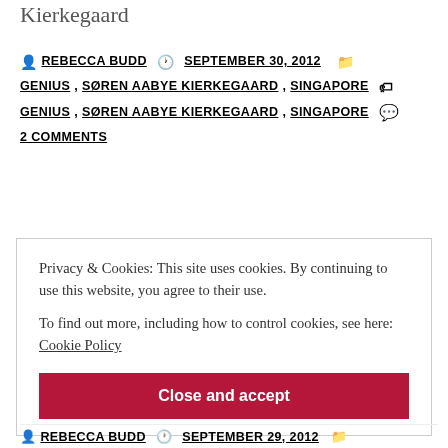Kierkegaard
REBECCA BUDD  SEPTEMBER 30, 2012  GENIUS, SØREN AABYE KIERKEGAARD, SINGAPORE  GENIUS, SØREN AABYE KIERKEGAARD, SINGAPORE  2 COMMENTS
Privacy & Cookies: This site uses cookies. By continuing to use this website, you agree to their use.
To find out more, including how to control cookies, see here: Cookie Policy
Close and accept
REBECCA BUDD  SEPTEMBER 29, 2012